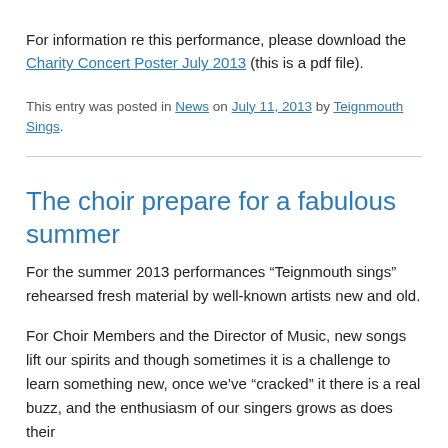For information re this performance, please download the Charity Concert Poster July 2013 (this is a pdf file).
This entry was posted in News on July 11, 2013 by Teignmouth Sings.
The choir prepare for a fabulous summer
For the summer 2013 performances “Teignmouth sings” rehearsed fresh material by well-known artists new and old.
For Choir Members and the Director of Music, new songs lift our spirits and though sometimes it is a challenge to learn something new, once we’ve “cracked” it there is a real buzz, and the enthusiasm of our singers grows as does their